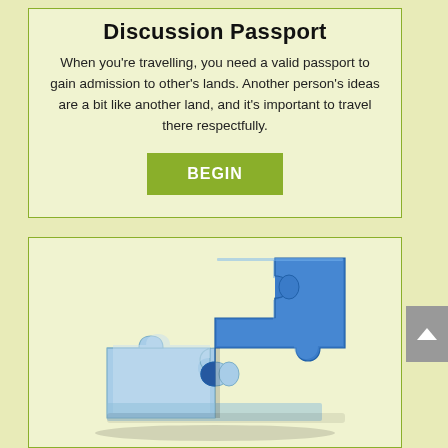Discussion Passport
When you're travelling, you need a valid passport to gain admission to other's lands. Another person's ideas are a bit like another land, and it's important to travel there respectfully.
[Figure (other): Green 'BEGIN' button]
[Figure (illustration): 3D blue puzzle pieces, two pieces fitting together on a flat surface]